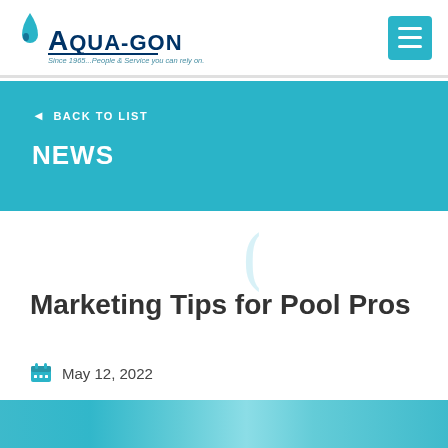AQUA-GON — Since 1965...People & Service you can rely on.
◄ BACK TO LIST
NEWS
Marketing Tips for Pool Pros
May 12, 2022
[Figure (photo): Teal/aqua pool water image strip at bottom of page]